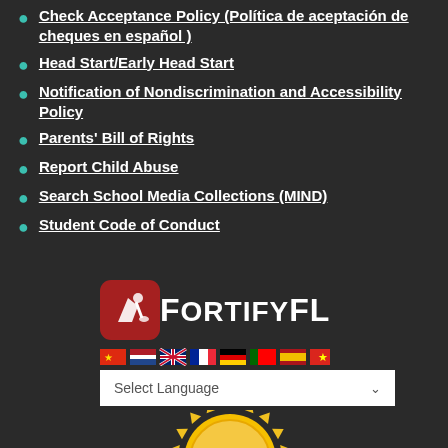Check Acceptance Policy (Política de aceptación de cheques en español )
Head Start/Early Head Start
Notification of Nondiscrimination and Accessibility Policy
Parents' Bill of Rights
Report Child Abuse
Search School Media Collections (MIND)
Student Code of Conduct
[Figure (logo): FortifyFL logo — red rounded square icon with megaphone/alert symbol, followed by white bold text FORTIFYFL]
[Figure (infographic): Row of country flag icons: Chinese, Dutch, British, French, German, Portuguese, Spanish, Vietnamese]
Select Language